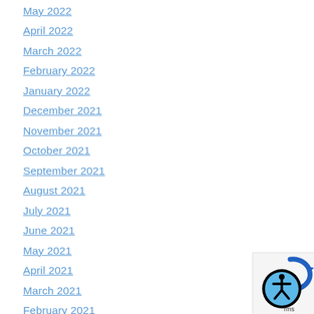May 2022
April 2022
March 2022
February 2022
January 2022
December 2021
November 2021
October 2021
September 2021
August 2021
July 2021
June 2021
May 2021
April 2021
March 2021
February 2021
January 2021
[Figure (logo): Accessibility icon showing a person figure in a blue circle with blue arrow swoosh, labeled 'rms']